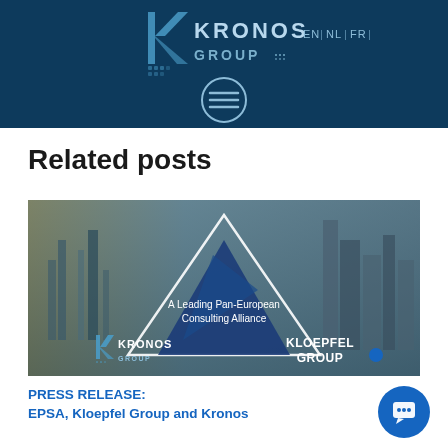[Figure (logo): Kronos Group logo with EN | NL | FR language links and hamburger menu button on dark blue header background]
Related posts
[Figure (photo): Banner image showing Kronos Group and Kloepfel Group logos on an industrial/city background with blue geometric shapes and text 'A Leading Pan-European Consulting Alliance']
PRESS RELEASE:
EPSA, Kloepfel Group and Kronos